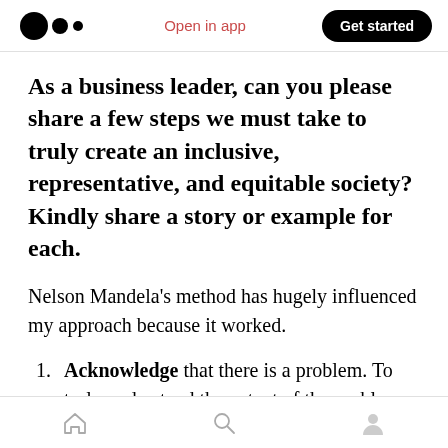Medium logo | Open in app | Get started
As a business leader, can you please share a few steps we must take to truly create an inclusive, representative, and equitable society? Kindly share a story or example for each.
Nelson Mandela's method has hugely influenced my approach because it worked.
Acknowledge that there is a problem. To truly understand the extent of the problem, we need to listen and learn. We need to dig
Home | Search | Profile